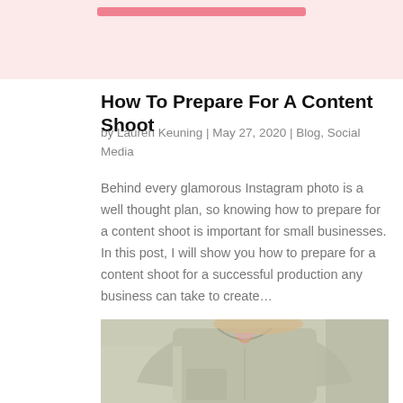[Figure (photo): Top pink banner area with a salmon/pink horizontal bar element]
How To Prepare For A Content Shoot
by Lauren Keuning | May 27, 2020 | Blog, Social Media
Behind every glamorous Instagram photo is a well thought plan, so knowing how to prepare for a content shoot is important for small businesses. In this post, I will show you how to prepare for a content shoot for a successful production any business can take to create...
[Figure (photo): Photo of a person wearing a light olive/grey button-up shirt, partially cropped, showing upper torso and blonde hair]